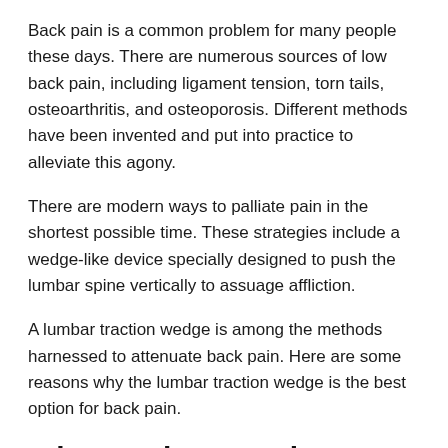Back pain is a common problem for many people these days. There are numerous sources of low back pain, including ligament tension, torn tails, osteoarthritis, and osteoporosis. Different methods have been invented and put into practice to alleviate this agony.
There are modern ways to palliate pain in the shortest possible time. These strategies include a wedge-like device specially designed to push the lumbar spine vertically to assuage affliction.
A lumbar traction wedge is among the methods harnessed to attenuate back pain. Here are some reasons why the lumbar traction wedge is the best option for back pain.
Why Lumbar Traction Wedge is